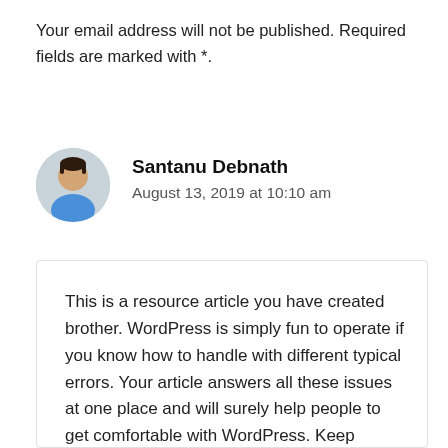Your email address will not be published. Required fields are marked with *.
Santanu Debnath
August 13, 2019 at 10:10 am
This is a resource article you have created brother. WordPress is simply fun to operate if you know how to handle with different typical errors. Your article answers all these issues at one place and will surely help people to get comfortable with WordPress. Keep sharing more such